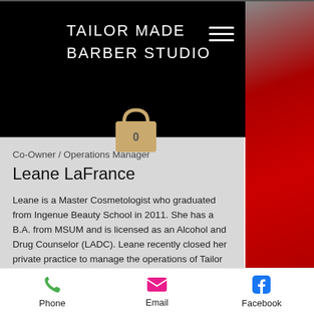TAILOR MADE BARBER STUDIO
[Figure (screenshot): Mobile website screenshot showing Tailor Made Barber Studio header with hamburger menu, shopping bag icon with 0, and red background photo on right]
Co-Owner / Operations Manager
Leane LaFrance
Leane is a Master Cosmetologist who graduated from Ingenue Beauty School in 2011. She has a B.A. from MSUM and is licensed as an Alcohol and Drug Counselor (LADC). Leane recently closed her private practice to manage the operations of Tailor Made...
Phone  Email  Facebook